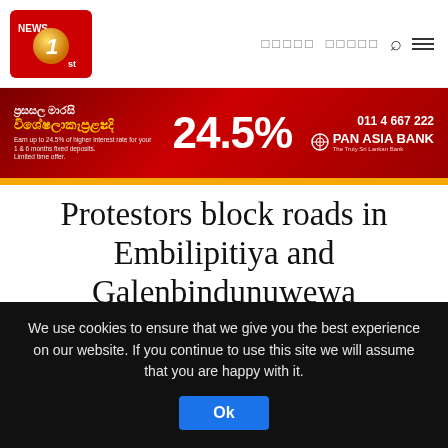News 1st — navigation header with logo and Sinhala menu links
[Figure (infographic): Pan Asia Bank advertisement banner: 24.5% interest rate offer. Phone: 011 4 667 222]
Protestors block roads in Embilipitiya and Galenbindunuwewa
Written by Bella Dalima
17 Jan, 2014 | 8:40 PM
We use cookies to ensure that we give you the best experience on our website. If you continue to use this site we will assume that you are happy with it.